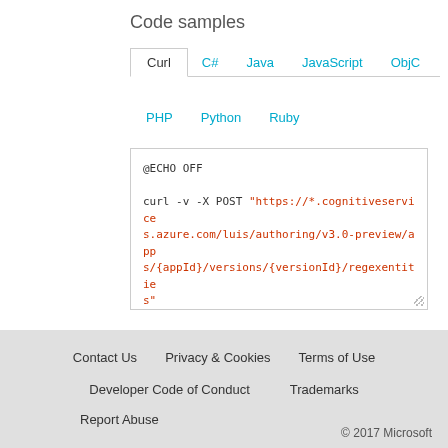Code samples
Curl | C# | Java | JavaScript | ObjC | PHP | Python | Ruby
@ECHO OFF

curl -v -X POST "https://*.cognitiveservices.azure.com/luis/authoring/v3.0-preview/apps/{appId}/versions/{versionId}/regexentities"
-H "Content-Type: application/json"
-H "Ocp-Apim-Subscription-Key: {subscriptionkey}"

--data-ascii "{body}"
Contact Us   Privacy & Cookies   Terms of Use   Developer Code of Conduct   Trademarks   Report Abuse   © 2017 Microsoft